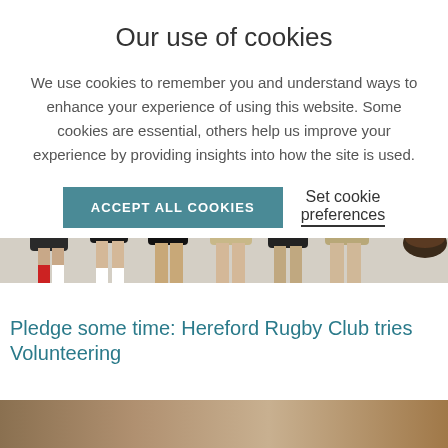Our use of cookies
We use cookies to remember you and understand ways to enhance your experience of using this website. Some cookies are essential, others help us improve your experience by providing insights into how the site is used.
ACCEPT ALL COOKIES
Set cookie preferences
[Figure (photo): Photo of people's legs standing on a floor, with a bowl of food visible at the right edge.]
Pledge some time: Hereford Rugby Club tries Volunteering
[Figure (photo): Partial photo with warm brown tones at the bottom of the page.]